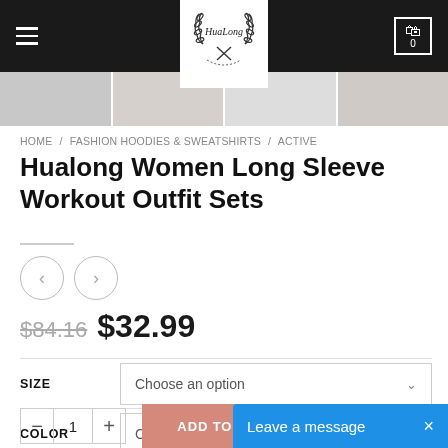HuaLong — navigation header with logo and cart icon (0 items)
[Figure (screenshot): Thumbnail strip showing product images of workout outfit sets]
HOME / FASHION HOODIES & SWEATSHIRTS / ACTIVE
Hualong Women Long Sleeve Workout Outfit Sets
$84.16  $32.99
SIZE — Choose an option
COLOR — Choose an option
- 1 +  ADD TO CART
Leave a message  ×